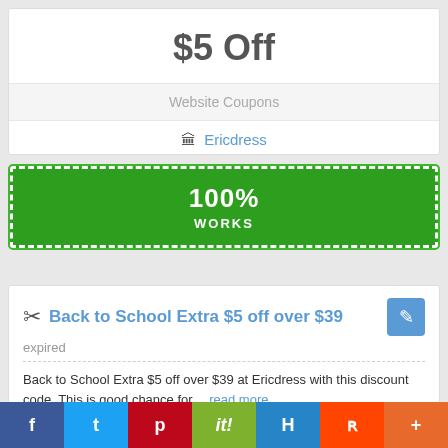$5 Off
Website Coupons
Ericdress
[Figure (other): Green button showing 100% WORKS]
Back to School Extra $5 off over $39
expired
Back to School Extra $5 off over $39 at Ericdress with this discount code. This is good chance for… read more
Add Favorites last used 1 days 13 hours 54 minutes ago
f  t  p  it!  H  reddit  +